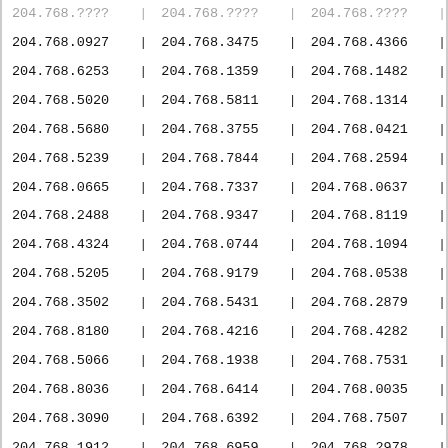| 204.768.0927 | | | 204.768.3475 | | | 204.768.4366 | | |
| 204.768.6253 | | | 204.768.1359 | | | 204.768.1482 | | |
| 204.768.5020 | | | 204.768.5811 | | | 204.768.1314 | | |
| 204.768.5680 | | | 204.768.3755 | | | 204.768.0421 | | |
| 204.768.5239 | | | 204.768.7844 | | | 204.768.2594 | | |
| 204.768.0665 | | | 204.768.7337 | | | 204.768.0637 | | |
| 204.768.2488 | | | 204.768.9347 | | | 204.768.8119 | | |
| 204.768.4324 | | | 204.768.0744 | | | 204.768.1094 | | |
| 204.768.5205 | | | 204.768.9179 | | | 204.768.0538 | | |
| 204.768.3502 | | | 204.768.5431 | | | 204.768.2879 | | |
| 204.768.8180 | | | 204.768.4216 | | | 204.768.4282 | | |
| 204.768.5066 | | | 204.768.1938 | | | 204.768.7531 | | |
| 204.768.8036 | | | 204.768.6414 | | | 204.768.0035 | | |
| 204.768.3090 | | | 204.768.6392 | | | 204.768.7507 | | |
| 204.768.1912 | | | 204.768.6959 | | | 204.768.2978 | | |
| 204.768.9813 | | | 204.768.0228 | | | 204.768.7902 | | |
| 204.768.1260 | | | 204.768.3561 | | | 204.768.7217 | | |
| 204.768.0702 | | | 204.768.1498 | | | 204.768.6626 | | |
| 204.768.7060 | | | 204.768.3001 | | | 204.768.0440 | | |